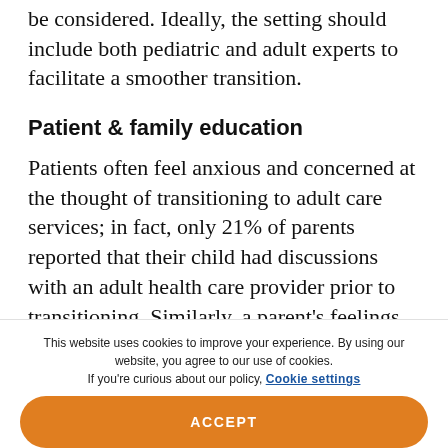be considered. Ideally, the setting should include both pediatric and adult experts to facilitate a smoother transition.
Patient & family education
Patients often feel anxious and concerned at the thought of transitioning to adult care services; in fact, only 21% of parents reported that their child had discussions with an adult health care provider prior to transitioning. Similarly, a parent's feelings toward the transition are linked to his or her awareness of
This website uses cookies to improve your experience. By using our website, you agree to our use of cookies. If you're curious about our policy, Cookie settings
ACCEPT